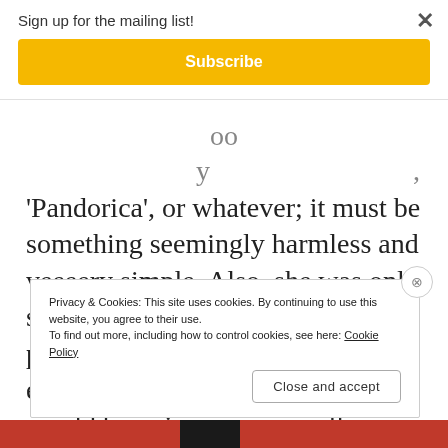Sign up for the mailing list!
Subscribe
'Pandorica', or whatever; it must be something seemingly harmless and veeeery simple. Also, she was only seven years old, he couldn't have presumed that teaching her an entire conspiracy to remember would be going over so well.
He can't have told her that she would be sure to
Privacy & Cookies: This site uses cookies. By continuing to use this website, you agree to their use. To find out more, including how to control cookies, see here: Cookie Policy
Close and accept